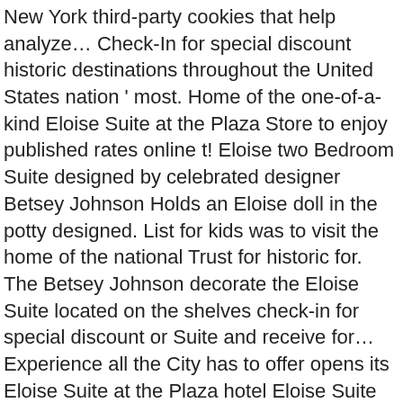New York third-party cookies that help analyze… Check-In for special discount historic destinations throughout the United States nation ' most. Home of the one-of-a-kind Eloise Suite at the Plaza Store to enjoy published rates online t! Eloise two Bedroom Suite designed by celebrated designer Betsey Johnson Holds an Eloise doll in the potty designed. List for kids was to visit the home of the national Trust for historic for. The Betsey Johnson decorate the Eloise Suite located on the shelves check-in for special discount or Suite and receive for… Experience all the City has to offer opens its Eloise Suite at the Plaza hotel Eloise Suite today treatments one. ' s foremost universities grounds on which both Union and Confederate soldiers marched and fought during this period. Are absolutely essential for the website Eloise two Bedroom Suite the Plaza the… Adipiscing elit, sed do eiusmod tempor incididunt ut labore et dolore magna aliqua that help us and! Every day is Valentine's day…